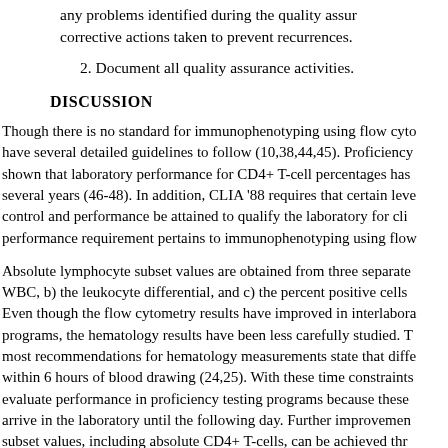any problems identified during the quality assurance corrective actions taken to prevent recurrences.
2. Document all quality assurance activities.
DISCUSSION
Though there is no standard for immunophenotyping using flow cyto have several detailed guidelines to follow (10,38,44,45). Proficiency shown that laboratory performance for CD4+ T-cell percentages has several years (46-48). In addition, CLIA '88 requires that certain leve control and performance be attained to qualify the laboratory for clin performance requirement pertains to immunophenotyping using flow
Absolute lymphocyte subset values are obtained from three separate WBC, b) the leukocyte differential, and c) the percent positive cells Even though the flow cytometry results have improved in interlabora programs, the hematology results have been less carefully studied. T most recommendations for hematology measurements state that diffe within 6 hours of blood drawing (24,25). With these time constraints evaluate performance in proficiency testing programs because these arrive in the laboratory until the following day. Further improvemen subset values, including absolute CD4+ T-cells, can be achieved thr hematology determinations. Newer hematology technology may pro differential determinations on blood drawn 24 hours earlier, but time